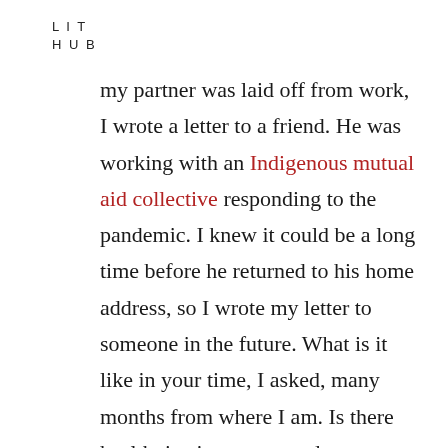LIT
HUB
my partner was laid off from work, I wrote a letter to a friend. He was working with an Indigenous mutual aid collective responding to the pandemic. I knew it could be a long time before he returned to his home address, so I wrote my letter to someone in the future. What is it like in your time, I asked, many months from where I am. Is there health, justice, peace and abundance? Has the land been given back? Are the prisoners free? Absurd, maybe.